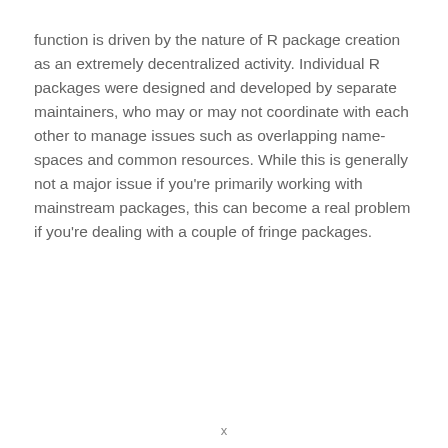function is driven by the nature of R package creation as an extremely decentralized activity. Individual R packages were designed and developed by separate maintainers, who may or may not coordinate with each other to manage issues such as overlapping name-spaces and common resources. While this is generally not a major issue if you're primarily working with mainstream packages, this can become a real problem if you're dealing with a couple of fringe packages.
x